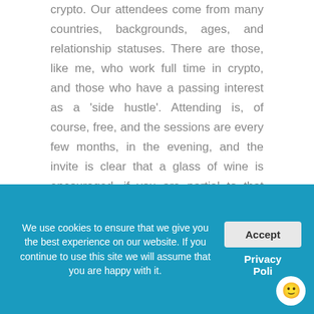crypto.  Our attendees come from many countries, backgrounds, ages, and relationship statuses.  There are those, like me, who work full time in crypto, and those who have a passing interest as a 'side hustle'.  Attending is, of course, free, and the sessions are every few months, in the evening, and the invite is clear that a glass of wine is encouraged, if you are partial to that sort of thing.

Frankly the crypto industry is missing a trick.  A poll of our members showed that that primary factor limited their interaction
We use cookies to ensure that we give you the best experience on our website. If you continue to use this site we will assume that you are happy with it.